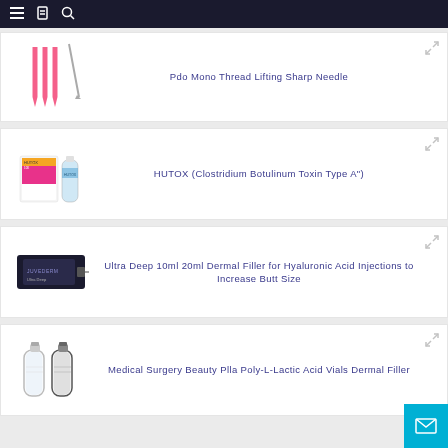Navigation bar with menu, bookmark, and search icons
[Figure (photo): PDO mono thread lifting sharp needles - pink needles with one silver needle]
Pdo Mono Thread Lifting Sharp Needle
[Figure (photo): HUTOX Clostridium Botulinum Toxin Type A product box and vial]
HUTOX (Clostridium Botulinum Toxin Type A")
[Figure (photo): Ultra Deep dermal filler syringe box in dark packaging]
Ultra Deep 10ml 20ml Dermal Filler for Hyaluronic Acid Injections to Increase Butt Size
[Figure (photo): Two clear glass medical vials for Plla Poly-L-Lactic Acid Dermal Filler]
Medical Surgery Beauty Plla Poly-L-Lactic Acid Vials Dermal Filler